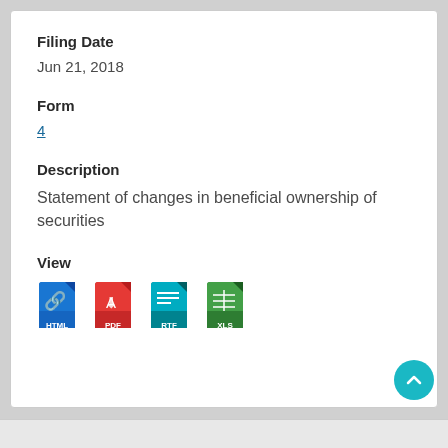Filing Date
Jun 21, 2018
Form
4
Description
Statement of changes in beneficial ownership of securities
View
[Figure (illustration): Four file format icons: HTML (blue), PDF (red), RTF (teal/blue), XLS (green)]